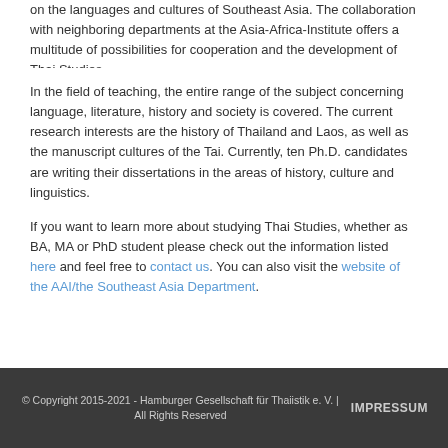on the languages and cultures of Southeast Asia. The collaboration with neighboring departments at the Asia-Africa-Institute offers a multitude of possibilities for cooperation and the development of Thai Studies.
In the field of teaching, the entire range of the subject concerning language, literature, history and society is covered. The current research interests are the history of Thailand and Laos, as well as the manuscript cultures of the Tai. Currently, ten Ph.D. candidates are writing their dissertations in the areas of history, culture and linguistics.
If you want to learn more about studying Thai Studies, whether as BA, MA or PhD student please check out the information listed here and feel free to contact us. You can also visit the website of the AAI/the Southeast Asia Department.
© Copyright 2015-2021 - Hamburger Gesellschaft für Thaiistik e. V. | All Rights Reserved   IMPRESSUM